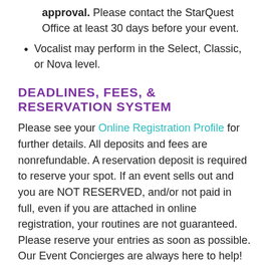approval. Please contact the StarQuest Office at least 30 days before your event.
Vocalist may perform in the Select, Classic, or Nova level.
DEADLINES, FEES, & RESERVATION SYSTEM
Please see your Online Registration Profile for further details. All deposits and fees are nonrefundable. A reservation deposit is required to reserve your spot. If an event sells out and you are NOT RESERVED, and/or not paid in full, even if you are attached in online registration, your routines are not guaranteed. Please reserve your entries as soon as possible. Our Event Concierges are always here to help!
ACCEPTANCE
All entries must be submitted from a verified studio through Online Registration.  We do not accept